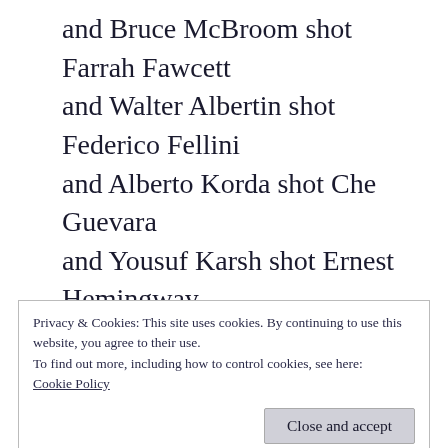and Bruce McBroom shot Farrah Fawcett
and Walter Albertin shot Federico Fellini
and Alberto Korda shot Che Guevara
and Yousuf Karsh shot Ernest Hemingway
and John Kobal shot Audrey Hepburn
and George Holliday shot Rodney King
and Joshua Massel shot Michael Jordan
and David McGough shot Andy Kaufman
and Loomis Dean shot Grace Kelly
and Howard Sochure shot Martin Luther King
and Stanley Kubrick shot Stanley Kubrick
Privacy & Cookies: This site uses cookies. By continuing to use this website, you agree to their use.
To find out more, including how to control cookies, see here:
Cookie Policy
Close and accept